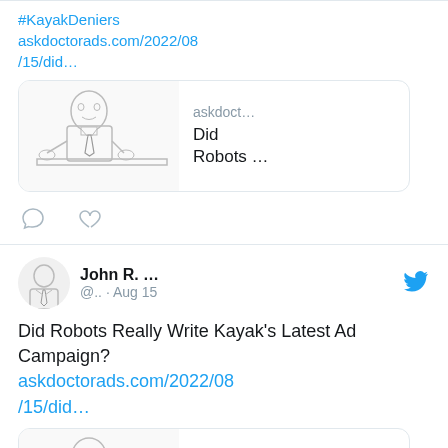#KayakDeniers askdoctorads.com/2022/08/15/did…
[Figure (screenshot): Link preview card showing a sketch illustration of a man at a desk with tie, site name 'askdoct…' and title 'Did Robots …']
[Figure (other): Tweet action icons: comment bubble and heart]
John R. … @.. · Aug 15
Did Robots Really Write Kayak's Latest Ad Campaign? askdoctorads.com/2022/08/15/did…
[Figure (screenshot): Link preview card showing a sketch illustration of a man at a desk with tie, site name 'askdoct…' and title 'Did']